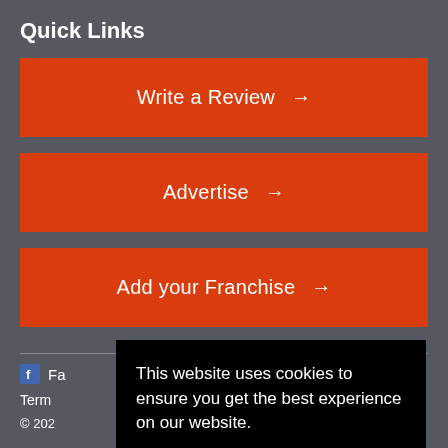Quick Links
Write a Review →
Advertise →
Add your Franchise →
Fa...
Term...
© 202...
This website uses cookies to ensure you get the best experience on our website.
Privacy Policy
Accept